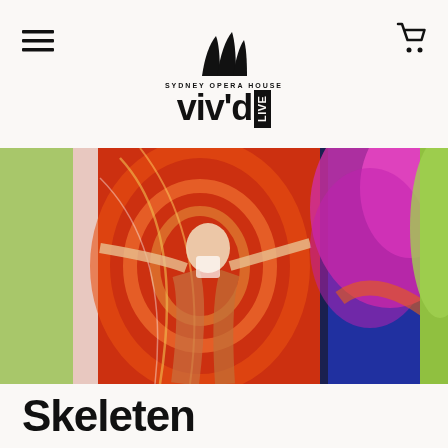[Figure (logo): Sydney Opera House sails logo - black stylized triangular sails]
[Figure (logo): SYDNEY OPERA HOUSE VIVID LIVE logo with bold viv'd text and LIVE in vertical box]
[Figure (photo): Colourful swirling motion-blur photo of a person with arms spread, surrounded by vivid greens, reds, pinks, blues and yellows]
Skeleten